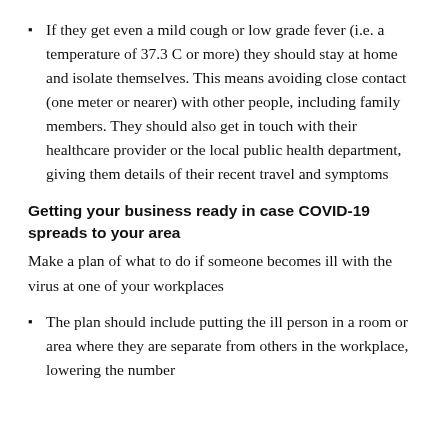If they get even a mild cough or low grade fever (i.e. a temperature of 37.3 C or more) they should stay at home and isolate themselves. This means avoiding close contact (one meter or nearer) with other people, including family members. They should also get in touch with their healthcare provider or the local public health department, giving them details of their recent travel and symptoms
Getting your business ready in case COVID-19 spreads to your area
Make a plan of what to do if someone becomes ill with the virus at one of your workplaces
The plan should include putting the ill person in a room or area where they are separate from others in the workplace, lowering the number